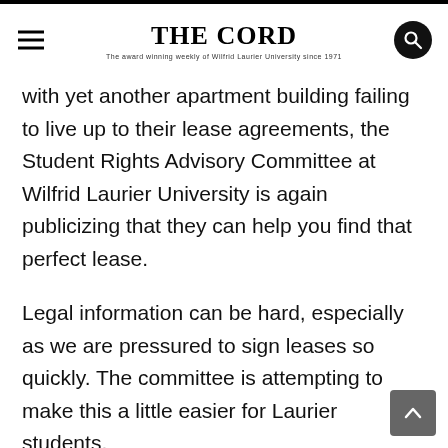THE CORD
with yet another apartment building failing to live up to their lease agreements, the Student Rights Advisory Committee at Wilfrid Laurier University is again publicizing that they can help you find that perfect lease.
Legal information can be hard, especially as we are pressured to sign leases so quickly. The committee is attempting to make this a little easier for Laurier students.
The majority of The Cord's Editorial Board has had at least one less-than-pleasurable experience with the student housing in Waterloo.